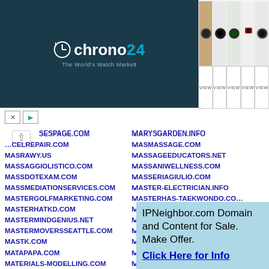[Figure (advertisement): Chrono24 watch marketplace advertisement banner with logo on dark teal background and watch photos with VIEW buttons]
SESPAGE.COM
MARYSGARDEN.INFO
MACELREPAIR.COM
MASMASSAGE.COM
MASRAWY.US
MASSAGEEDUCATORS.NET
MASSAGGIOLISTICO.COM
MASSANIWELLNESS.COM
MASSDOTEXAM.COM
MASSERIAGIULIO.COM
MASSMEDIATIONSERVICES.COM
MASTER-ELECTRICIAN.INFO
MASTERGOLFMARKETING.COM
MASTERHAS-TAEKWONDO.COM
MASTERHATKD.COM
MASTERINGMANIFESTING.COM
MASTERMINDGENIUS.NET
MASTERMINDNETWORK.ORG
MASTERMOVERSSEATTLE.COM
MASTEROFEVOLUTION.COM
MASTK.COM
MAT-A.NET
MATAPAPA.COM
MATCHMAKINGURU.COM
MATERIALS-MODELLING.COM
MATERIALSHUB.COM
MATHEWHODGKIN.COM
MATHISINYOURMIND.COM
MATRIARCHDANES.COM
MATRITARG.COM
MATTANDISABEL.COM
MATTARNOLDHOOPS.NET
MATTEDENS.COM
MATTHEWBOEERSCHOLARSHIP.COM
MATTHEWGRUNERT.COM
MATTHEWHERSCHEL.COM
MATTHEWOKPEBHOLOFOUNDATION.COM
MATVA.ORG
MAUISPA.COM
MAWALKINGRADIO.COM
IPNeighbor.com Domain and Content for Sale. Make Offer. Click Here for Info